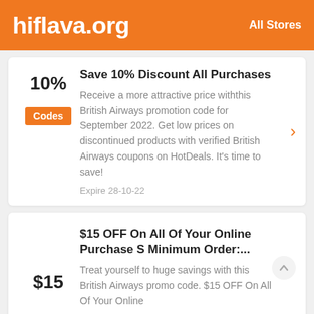hiflava.org   All Stores
Save 10% Discount All Purchases
Receive a more attractive price withthis British Airways promotion code for September 2022. Get low prices on discontinued products with verified British Airways coupons on HotDeals. It's time to save!
Expire 28-10-22
$15 OFF On All Of Your Online Purchase S Minimum Order:...
Treat yourself to huge savings with this British Airways promo code. $15 OFF On All Of Your Online